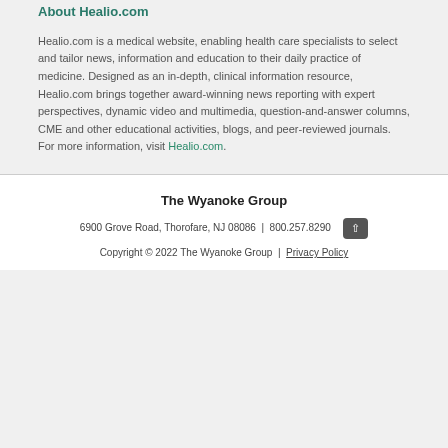About Healio.com
Healio.com is a medical website, enabling health care specialists to select and tailor news, information and education to their daily practice of medicine. Designed as an in-depth, clinical information resource, Healio.com brings together award-winning news reporting with expert perspectives, dynamic video and multimedia, question-and-answer columns, CME and other educational activities, blogs, and peer-reviewed journals. For more information, visit Healio.com.
The Wyanoke Group
6900 Grove Road, Thorofare, NJ 08086 | 800.257.8290 | 856.848...
Copyright © 2022 The Wyanoke Group | Privacy Policy